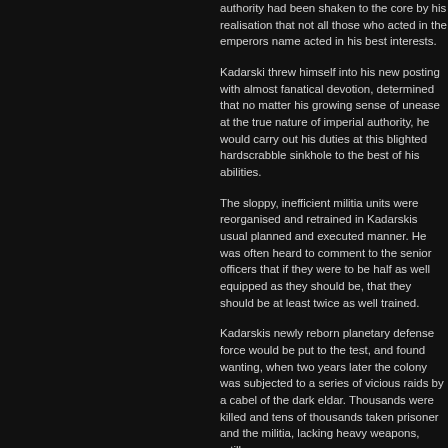authority had been shaken to the core by his realisation that not all those who acted in the emperors name acted in his best interests.
Kadarski threw himself into his new posting with almost fanatical devotion, determined that no matter his growing sense of unease at the true nature of imperial authority, he would carry out his duties at this blighted hardscrabble sinkhole to the best of his abilities.
The sloppy, inefficient militia units were reorganised and retrained in Kadarskis usual planned and executed manner. He was often heard to comment to the senior officers that if they were to be half as well equipped as they should be, that they should be at least twice as well trained.
Kadarskis newly reborn planetary defense force would be put to the test, and found wanting, when two years later the colony was subjected to a series of vicious raids by a cabel of the dark eldar. Thousands were killed and tens of thousands taken prisoner and the militia, lacking heavy weapons, artillery or armour, were